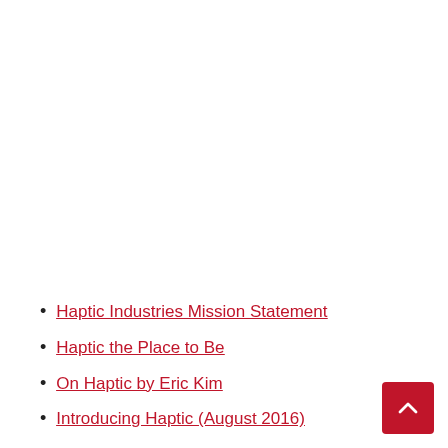Haptic Industries Mission Statement
Haptic the Place to Be
On Haptic by Eric Kim
Introducing Haptic (August 2016)